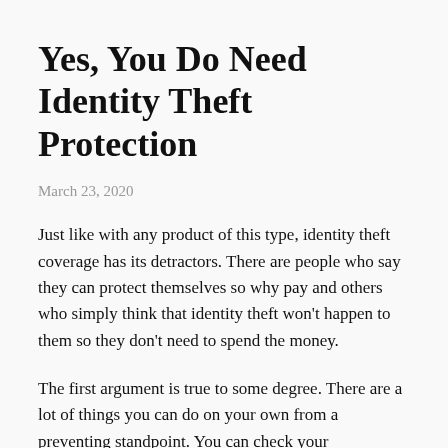Yes, You Do Need Identity Theft Protection
March 23, 2020
Just like with any product of this type, identity theft coverage has its detractors. There are people who say they can protect themselves so why pay and others who simply think that identity theft won't happen to them so they don't need to spend the money.
The first argument is true to some degree. There are a lot of things you can do on your own from a preventing standpoint. You can check your